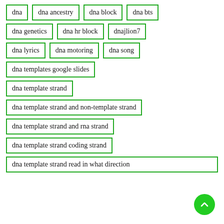dna
dna ancestry
dna block
dna bts
dna genetics
dna hr block
dnajlion7
dna lyrics
dna motoring
dna song
dna templates google slides
dna template strand
dna template strand and non-template strand
dna template strand and rna strand
dna template strand coding strand
dna template strand read in what direction